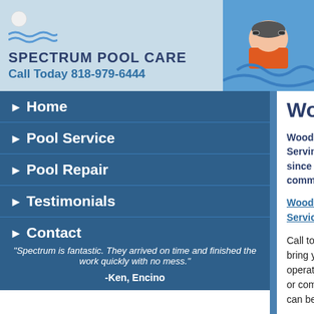[Figure (logo): Spectrum Pool Care logo with beach ball and water waves icon]
SPECTRUM POOL CARE
Call Today 818-979-6444
[Figure (photo): Child swimming in pool wearing goggles]
Home
Pool Service
Pool Repair
Testimonials
Contact
"Spectrum is fantastic. They arrived on time and finished the work quickly with no mess."

-Ken, Encino
Woodland H
Woodland Hills Pool Repair Sol... Serving the San Fernando Valle... since 1985, Spectrum Pool Care... commercial and residential clie...
Woodland Hills Pool Repair ... Service.
Call today and get the service you... bring your pool or spa back into op... operation. Whether a pump failure,... or complete overhaul - we are conf... can be of help!